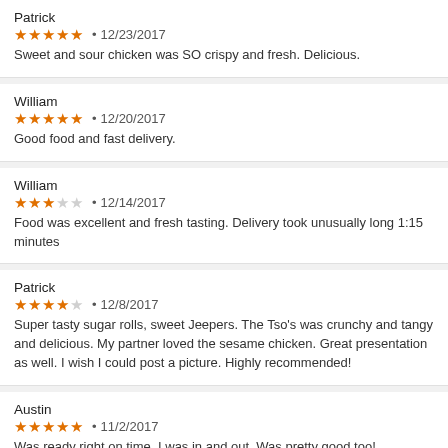Patrick
★★★★★ • 12/23/2017
Sweet and sour chicken was SO crispy and fresh. Delicious.
William
★★★★★ • 12/20/2017
Good food and fast delivery.
William
★★★☆☆ • 12/14/2017
Food was excellent and fresh tasting. Delivery took unusually long 1:15 minutes
Patrick
★★★★☆ • 12/8/2017
Super tasty sugar rolls, sweet Jeepers. The Tso's was crunchy and tangy and delicious. My partner loved the sesame chicken. Great presentation as well. I wish I could post a picture. Highly recommended!
Austin
★★★★★ • 11/2/2017
Was ready right on time, I was in and out. Was pretty good too!
Greg
★★★★★ • 10/24/2017